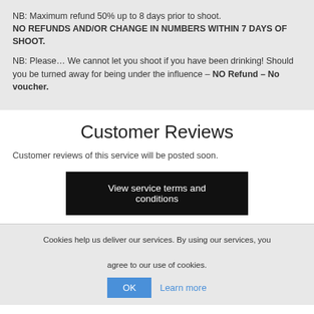NB: Maximum refund 50% up to 8 days prior to shoot. NO REFUNDS AND/OR CHANGE IN NUMBERS WITHIN 7 DAYS OF SHOOT.
NB: Please… We cannot let you shoot if you have been drinking! Should you be turned away for being under the influence – NO Refund – No voucher.
Customer Reviews
Customer reviews of this service will be posted soon.
View service terms and conditions
Cookies help us deliver our services. By using our services, you agree to our use of cookies.